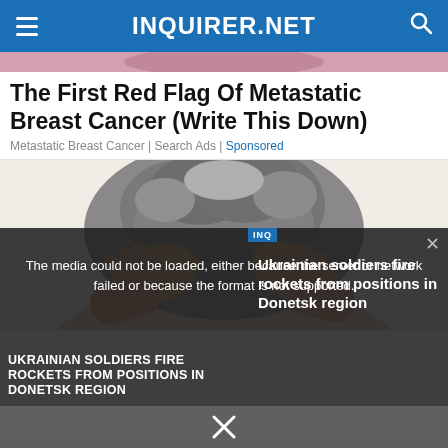INQUIRER.NET
The First Red Flag Of Metastatic Breast Cancer (Write This Down)
Metastatic Breast Cancer | Search Ads | Sponsored
[Figure (photo): Person with gray curly hair holding their head with both hands, viewed from behind/side]
[Figure (screenshot): Video player overlay showing error message: 'The media could not be loaded, either because the server or network failed or because the format is not supported.' with news caption 'UKRAINIAN SOLDIERS FIRE ROCKETS FROM POSITIONS IN DONETSK REGION' and right side headline 'Ukrainian soldiers fire rockets from positions in Donetsk region']